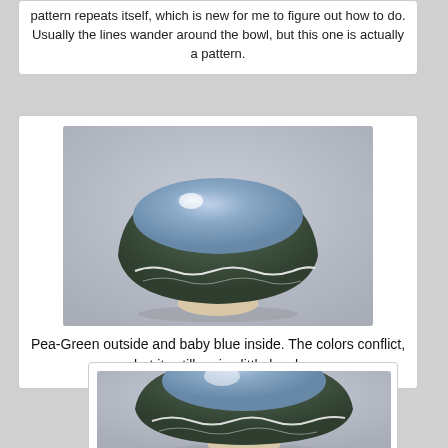pattern repeats itself, which is new for me to figure out how to do. Usually the lines wander around the bowl, but this one is actually a pattern.
[Figure (photo): A ceramic bowl with dark pea-green glaze on the outside and baby blue glaze on the inside, with a wavy white line pattern around the exterior. The bowl sits on a plain foot ring against a grey background.]
Pea-Green outside and baby blue inside. The colors conflict, but its still a nice little bowl.
[Figure (photo): The same ceramic bowl with dark pea-green glaze exterior and baby blue interior, with a wavy white line pattern, partially visible from a slightly different angle.]